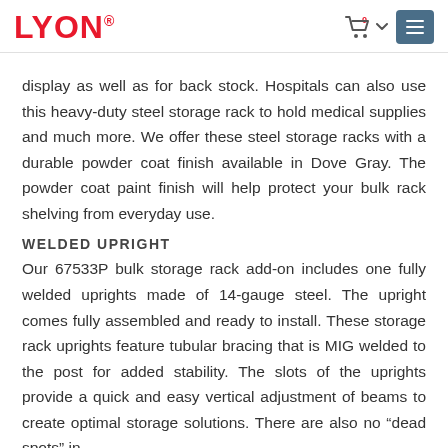LYON
display as well as for back stock. Hospitals can also use this heavy-duty steel storage rack to hold medical supplies and much more. We offer these steel storage racks with a durable powder coat finish available in Dove Gray. The powder coat paint finish will help protect your bulk rack shelving from everyday use.
WELDED UPRIGHT
Our 67533P bulk storage rack add-on includes one fully welded uprights made of 14-gauge steel. The upright comes fully assembled and ready to install. These storage rack uprights feature tubular bracing that is MIG welded to the post for added stability. The slots of the uprights provide a quick and easy vertical adjustment of beams to create optimal storage solutions. There are also no “dead spots” in